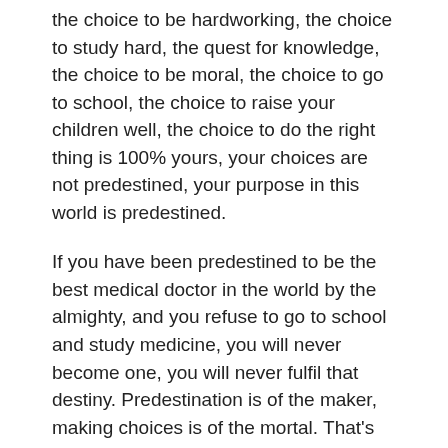the choice to be hardworking, the choice to study hard, the quest for knowledge, the choice to be moral, the choice to go to school, the choice to raise your children well, the choice to do the right thing is 100% yours, your choices are not predestined, your purpose in this world is predestined.
If you have been predestined to be the best medical doctor in the world by the almighty, and you refuse to go to school and study medicine, you will never become one, you will never fulfil that destiny. Predestination is of the maker, making choices is of the mortal. That's why mankind is accountable to the maker on matters of choices and fulfilment of destiny.